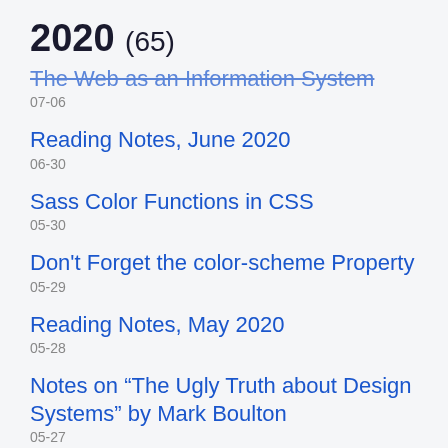2020 (65)
The Web as an Information System
07-06
Reading Notes, June 2020
06-30
Sass Color Functions in CSS
05-30
Don't Forget the color-scheme Property
05-29
Reading Notes, May 2020
05-28
Notes on “The Ugly Truth about Design Systems” by Mark Boulton
05-27
Thoughts on Designing a UI Driven By User-